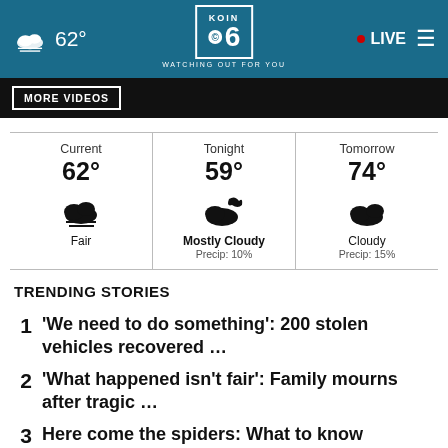62° KOIN 6 CBS WATCHING OUT FOR YOU • LIVE
[Figure (screenshot): MORE VIDEOS button on dark banner]
[Figure (infographic): Weather widget showing Current 62° Fair, Tonight 59° Mostly Cloudy Precip: 10%, Tomorrow 74° Cloudy Precip: 15%]
TRENDING STORIES
1 'We need to do something': 200 stolen vehicles recovered ...
2 'What happened isn't fair': Family mourns after tragic ...
3 Here come the spiders: What to know